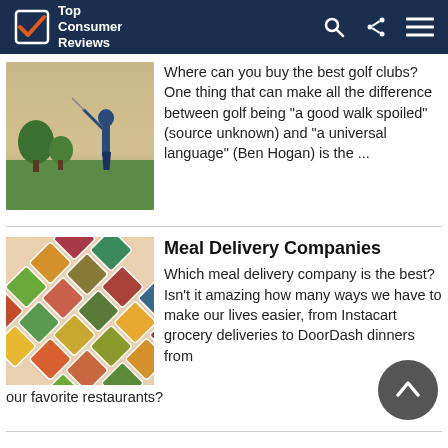Top Consumer Reviews
[Figure (photo): Golfer swinging a golf club on a golf course at sunset]
Where can you buy the best golf clubs? One thing that can make all the difference between golf being "a good walk spoiled" (source unknown) and "a universal language" (Ben Hogan) is the ...
[Figure (photo): Grid of meal delivery boxes with various foods]
Meal Delivery Companies
Which meal delivery company is the best? Isn't it amazing how many ways we have to make our lives easier, from Instacart grocery deliveries to DoorDash dinners from our favorite restaurants?